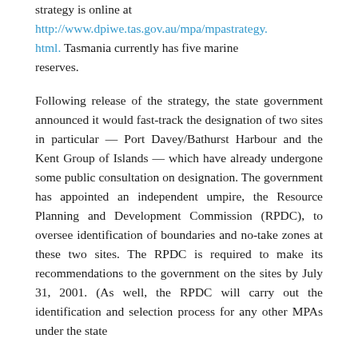strategy is online at http://www.dpiwe.tas.gov.au/mpa/mpastrategy.html. Tasmania currently has five marine reserves.
Following release of the strategy, the state government announced it would fast-track the designation of two sites in particular — Port Davey/Bathurst Harbour and the Kent Group of Islands — which have already undergone some public consultation on designation. The government has appointed an independent umpire, the Resource Planning and Development Commission (RPDC), to oversee identification of boundaries and no-take zones at these two sites. The RPDC is required to make its recommendations to the government on the sites by July 31, 2001. (As well, the RPDC will carry out the identification and selection process for any other MPAs under the state